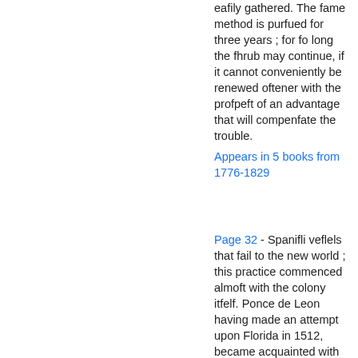eafily gathered. The fame method is purfued for three years ; for fo long the fhrub may continue, if it cannot conveniently be renewed oftener with the profpeft of an advantage that will compenfate the trouble.
Appears in 5 books from 1776-1829
Page 32 - Spanifli veflels that fail to the new world ; this practice commenced almoft with the colony itfelf. Ponce de Leon having made an attempt upon Florida in 1512, became acquainted with the new canal of Bahama; it was immediately...